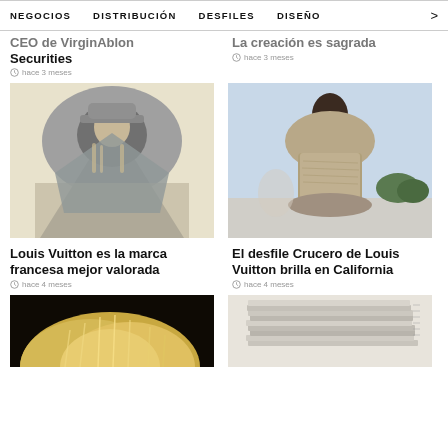NEGOCIOS   DISTRIBUCIÓN   DESFILES   DISEÑO   >
CEO de VirginAblon Securities
hace 3 meses
La creación es sagrada
hace 3 meses
[Figure (photo): Fashion model wearing oversized grey hooded cape and structured grey outfit, hat, avant-garde styling]
Louis Vuitton es la marca francesa mejor valorada
hace 4 meses
[Figure (photo): Fashion model wearing textured stone-coloured structured top with large draped collar, outdoor setting]
El desfile Crucero de Louis Vuitton brilla en California
hace 4 meses
[Figure (photo): Dark background image with fluffy/fur texture, partially visible]
[Figure (photo): Light background image showing stacked papers/books, partially visible]